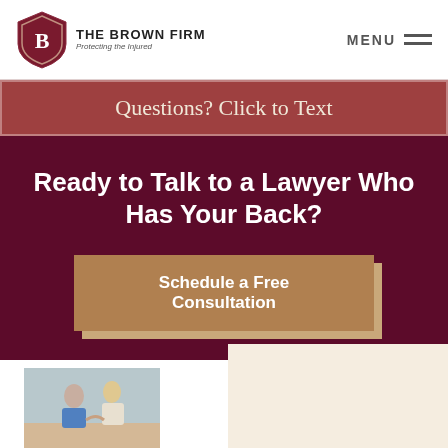THE BROWN FIRM — Protecting the Injured | MENU
Questions? Click to Text
Ready to Talk to a Lawyer Who Has Your Back?
Schedule a Free Consultation
[Figure (photo): Photo of a caregiver helping an elderly person at a table, bottom left of page]
[Figure (other): Cream/beige colored box on the right side of the bottom section]